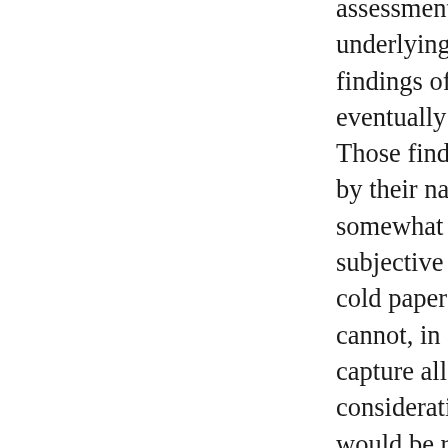assessments underlying the findings of fact he eventually made. Those findings are, by their nature, somewhat subjective and the cold paper record cannot, in our view, capture all of the considerations that would be relevant to those findings. We defer to the [application] judge's findings